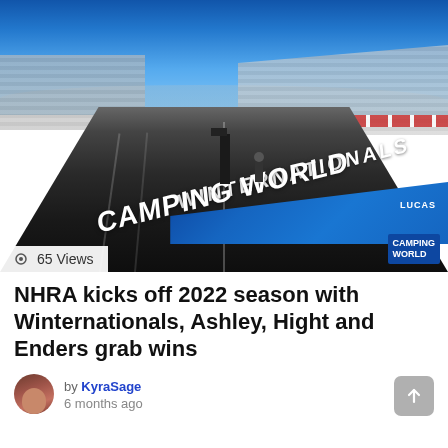[Figure (photo): Aerial/ground-level view of an NHRA drag racing strip at a Camping World Winternationals event. The track has two lanes with blue barriers on the side featuring 'Camping World' and 'Winternationals' branding. Clear blue sky and grandstands visible in the background.]
65 Views
NHRA kicks off 2022 season with Winternationals, Ashley, Hight and Enders grab wins
by KyraSage
6 months ago